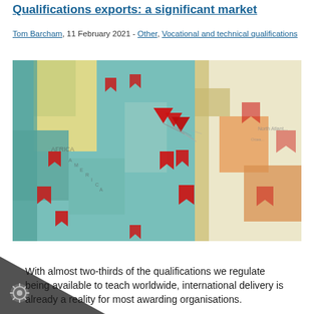Qualifications exports: a significant market
Tom Barcham, 11 February 2021 - Other, Vocational and technical qualifications
[Figure (photo): Close-up photograph of a world map with multiple red flag/pin markers stuck into various locations, showing international reach of qualifications]
With almost two-thirds of the qualifications we regulate being available to teach worldwide, international delivery is already a reality for most awarding organisations.